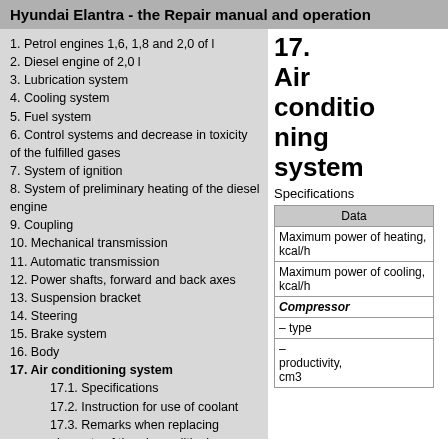Hyundai Elantra - the Repair manual and operation
1. Petrol engines 1,6, 1,8 and 2,0 of l
2. Diesel engine of 2,0 l
3. Lubrication system
4. Cooling system
5. Fuel system
6. Control systems and decrease in toxicity of the fulfilled gases
7. System of ignition
8. System of preliminary heating of the diesel engine
9. Coupling
10. Mechanical transmission
11. Automatic transmission
12. Power shafts, forward and back axes
13. Suspension bracket
14. Steering
15. Brake system
16. Body
17. Air conditioning system
17.1. Specifications
17.2. Instruction for use of coolant
17.3. Remarks when replacing elements of the air conditioning system
17. Air conditioning system
Specifications
| Data |
| --- |
| Maximum power of heating, kcal/h |
| Maximum power of cooling, kcal/h |
| Compressor |
| – type |
| – productivity, cm3 |